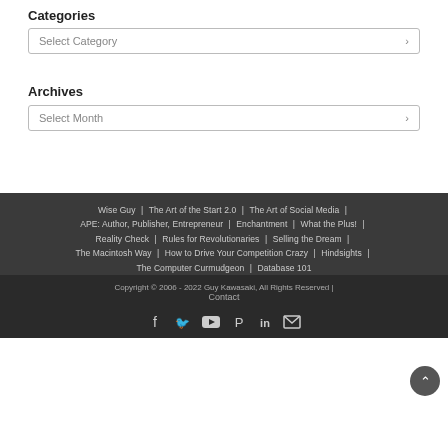Categories
Select Category
Archives
Select Month
Wise Guy | The Art of the Start 2.0 | The Art of Social Media | APE: Author, Publisher, Entrepreneur | Enchantment | What the Plus! | Reality Check | Rules for Revolutionaries | Selling the Dream | The Macintosh Way | How to Drive Your Competition Crazy | Hindsights | The Computer Curmudgeon | Database 101
Copyright © 2006 - 2022 Guy Kawasaki, All Rights Reserved | Contact